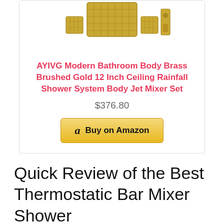[Figure (photo): Top portion of a gold brushed brass shower system set showing rainhead, body jets, and controls]
AYIVG Modern Bathroom Body Brass Brushed Gold 12 Inch Ceiling Rainfall Shower System Body Jet Mixer Set
$376.80
[Figure (other): Buy on Amazon button with Amazon logo]
Quick Review of the Best Thermostatic Bar Mixer Shower
[Figure (photo): Bottom portion of a chrome thermostatic bar mixer shower system with overhead rainhead and controls]